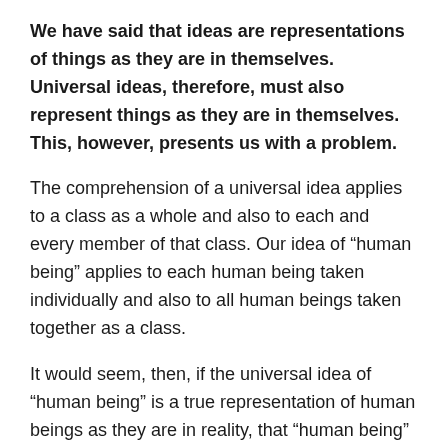We have said that ideas are representations of things as they are in themselves. Universal ideas, therefore, must also represent things as they are in themselves. This, however, presents us with a problem.
The comprehension of a universal idea applies to a class as a whole and also to each and every member of that class. Our idea of “human being” applies to each human being taken individually and also to all human beings taken together as a class.
It would seem, then, if the universal idea of “human being” is a true representation of human beings as they are in reality, that “human being” has a nature which is single in each individual and one in the whole class of human beings. The nature of human being would be one since it applies to a class as a whole, while it would be multiple since it applies